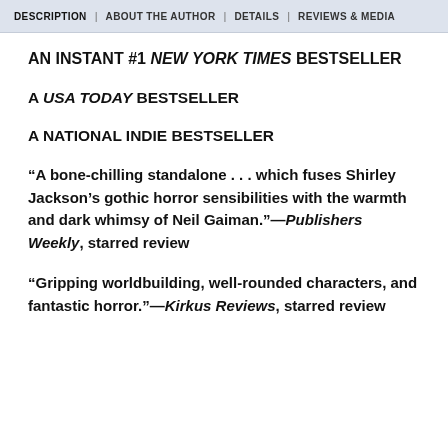DESCRIPTION | ABOUT THE AUTHOR | DETAILS | REVIEWS & MEDIA
AN INSTANT #1 NEW YORK TIMES BESTSELLER
A USA TODAY BESTSELLER
A NATIONAL INDIE BESTSELLER
“A bone-chilling standalone . . . which fuses Shirley Jackson’s gothic horror sensibilities with the warmth and dark whimsy of Neil Gaiman.”—Publishers Weekly, starred review
“Gripping worldbuilding, well-rounded characters, and fantastic horror.”—Kirkus Reviews, starred review